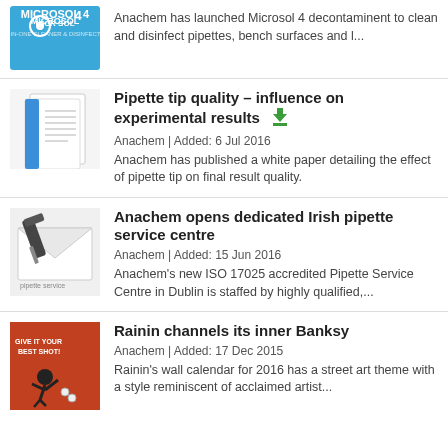[Figure (illustration): Microsol 4 product logo/image - blue background with MICROSOL 4 text and tagline]
Anachem has launched Microsol 4 decontaminent to clean and disinfect pipettes, bench surfaces and l...
[Figure (illustration): White paper document with blue binding/folder image]
Pipette tip quality – influence on experimental results [download icon]
Anachem | Added: 6 Jul 2016
Anachem has published a white paper detailing the effect of pipette tip on final result quality.
[Figure (illustration): Pipette service centre image with pipetting device on white envelope/letter]
Anachem opens dedicated Irish pipette service centre
Anachem | Added: 15 Jun 2016
Anachem's new ISO 17025 accredited Pipette Service Centre in Dublin is staffed by highly qualified,...
[Figure (illustration): Street art style image with figure throwing - Rainin Banksy themed calendar]
Rainin channels its inner Banksy
Anachem | Added: 17 Dec 2015
Rainin's wall calendar for 2016 has a street art theme with a style reminiscent of acclaimed artist...